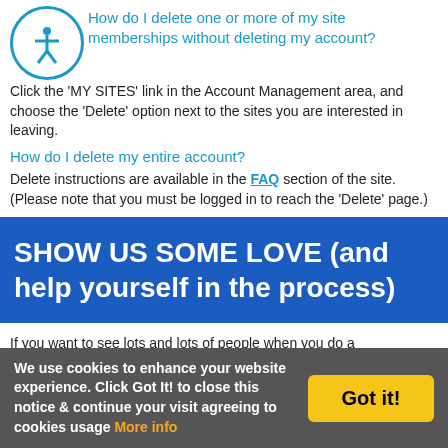How do I delete one or more of my site memberships without deleting my account?
Click the 'MY SITES' link in the Account Management area, and choose the 'Delete' option next to the sites you are interested in leaving.
How do I delete my entire account?
Delete instructions are available in the FAQ section of the site.
(Please note that you must be logged in to reach the 'Delete' page.)
[Figure (infographic): Blue banner with white text: SHOW US SOME LOVE (and help yourself in the process)]
If you want to see lots and lots of people when you do a search...show us some love, and tell your friends about our network of 260+ individually FREE sites. If everyone just tells one or two of their friends, the number of member profiles will explode. Take a moment to send an email to a few friends, and ask them to just check us out. Hopefully, they'll join, and maybe even meet someone special who shares their passions in life too.
Separately, if you have a homepage, a website, or a blog, consider adding a link to us
We use cookies to enhance your website experience. Click Got It! to close this notice & continue your visit agreeing to cookies usage   More info   Got it!